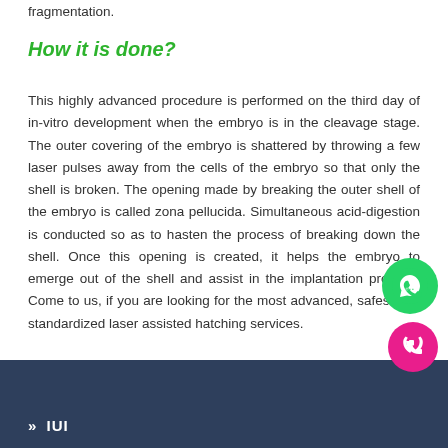fragmentation.
How it is done?
This highly advanced procedure is performed on the third day of in-vitro development when the embryo is in the cleavage stage. The outer covering of the embryo is shattered by throwing a few laser pulses away from the cells of the embryo so that only the shell is broken. The opening made by breaking the outer shell of the embryo is called zona pellucida. Simultaneous acid-digestion is conducted so as to hasten the process of breaking down the shell. Once this opening is created, it helps the embryo to emerge out of the shell and assist in the implantation process. Come to us, if you are looking for the most advanced, safest and standardized laser assisted hatching services.
» IUI